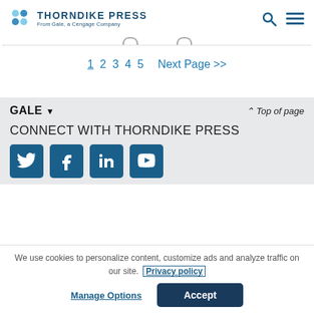THORNDIKE PRESS From Gale, a Cengage Company
1 2 3 4 5  Next Page >>
GALE ▼   ^ Top of page
CONNECT WITH THORNDIKE PRESS
[Figure (illustration): Social media icons: Twitter, Facebook, LinkedIn, YouTube]
We use cookies to personalize content, customize ads and analyze traffic on our site.  Privacy policy
Manage Options   Accept